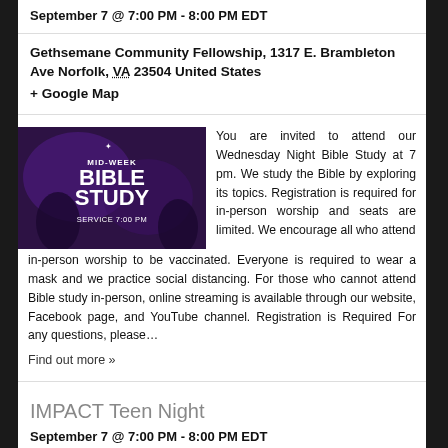September 7 @ 7:00 PM - 8:00 PM EDT
Gethsemane Community Fellowship, 1317 E. Brambleton Ave Norfolk, VA 23504 United States
+ Google Map
[Figure (photo): Mid-Week Bible Study promotional graphic with purple background and bold white text reading 'MID-WEEK BIBLE STUDY SERVICE 7:00 PM']
You are invited to attend our Wednesday Night Bible Study at 7 pm. We study the Bible by exploring its topics. Registration is required for in-person worship and seats are limited. We encourage all who attend in-person worship to be vaccinated. Everyone is required to wear a mask and we practice social distancing. For those who cannot attend Bible study in-person, online streaming is available through our website, Facebook page, and YouTube channel. Registration is Required For any questions, please...
Find out more »
IMPACT Teen Night
September 7 @ 7:00 PM - 8:00 PM EDT
Recurring Event (See all)